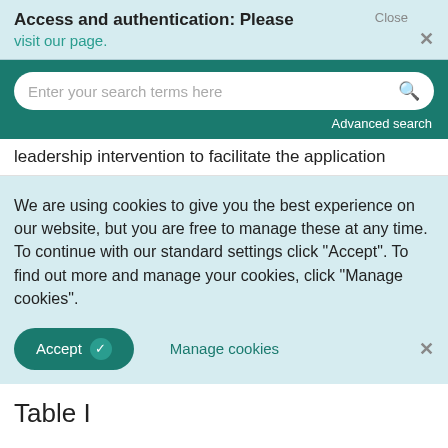Access and authentication: Please visit our page.
Enter your search terms here
Advanced search
leadership intervention to facilitate the application
We are using cookies to give you the best experience on our website, but you are free to manage these at any time. To continue with our standard settings click "Accept". To find out more and manage your cookies, click "Manage cookies".
Accept
Manage cookies
Table I